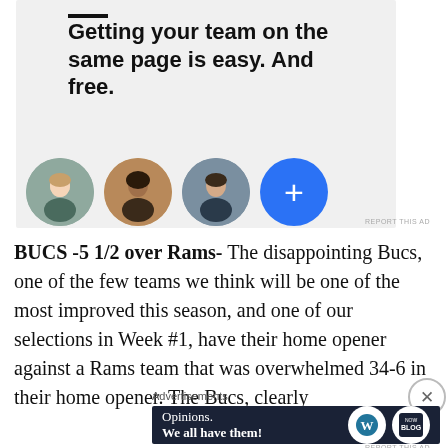[Figure (infographic): Advertisement banner with light gray background showing bold text 'Getting your team on the same page is easy. And free.' with three circular avatar photos and a blue plus button circle below.]
REPORT THIS AD
BUCS -5 1/2 over Rams- The disappointing Bucs, one of the few teams we think will be one of the most improved this season, and one of our selections in Week #1, have their home opener against a Rams team that was overwhelmed 34-6 in their home opener. The Bucs, clearly
Advertisements
[Figure (infographic): Dark navy advertisement banner for WordPress/blog platform with text 'Opinions. We all have them!' and WordPress logo and another circular logo on the right.]